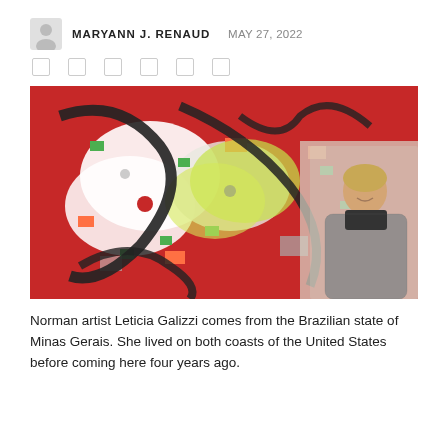MARYANN J. RENAUD   MAY 27, 2022
[Figure (photo): A woman smiling in front of a large abstract painting on a red background with black, white, green, orange, and yellow geometric and organic shapes. She has short light hair and is wearing a grey textured wrap.]
Norman artist Leticia Galizzi comes from the Brazilian state of Minas Gerais. She lived on both coasts of the United States before coming here four years ago.